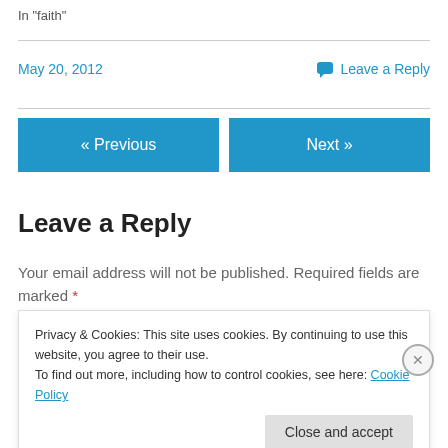In "faith"
May 20, 2012
💬 Leave a Reply
[Figure (other): Previous and Next navigation buttons in blue]
Leave a Reply
Your email address will not be published. Required fields are marked *
Privacy & Cookies: This site uses cookies. By continuing to use this website, you agree to their use.
To find out more, including how to control cookies, see here: Cookie Policy
Close and accept